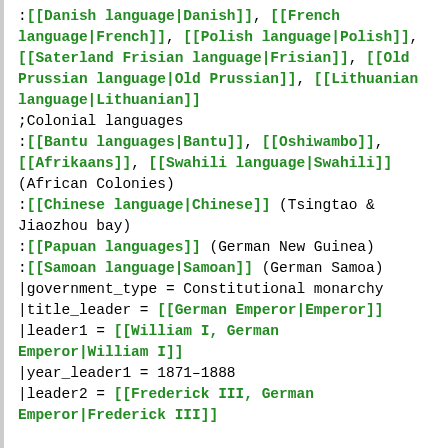:[[Danish language|Danish]], [[French language|French]], [[Polish language|Polish]], [[Saterland Frisian language|Frisian]], [[Old Prussian language|Old Prussian]], [[Lithuanian language|Lithuanian]]
 ;Colonial languages
 :[[Bantu languages|Bantu]], [[Oshiwambo]], [[Afrikaans]], [[Swahili language|Swahili]] (African Colonies)
 :[[Chinese language|Chinese]] (Tsingtao & Jiaozhou bay)
 :[[Papuan languages]] (German New Guinea)
 :[[Samoan language|Samoan]] (German Samoa)
 |government_type   = Constitutional monarchy
 |title_leader = [[German Emperor|Emperor]]
 |leader1      = [[William I, German Emperor|William I]]
 |year_leader1 = 1871–1888
 |leader2      = [[Frederick III, German Emperor|Frederick III]]